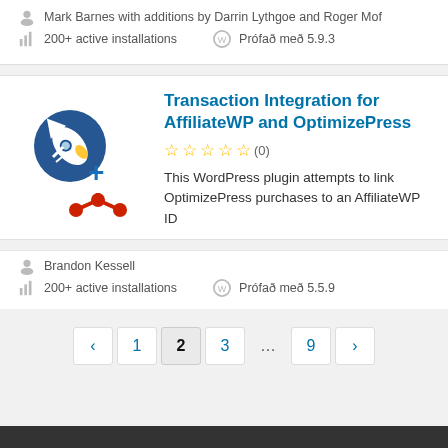Mark Barnes with additions by Darrin Lythgoe and Roger Mof
200+ active installations   Prófað með 5.9.3
Transaction Integration for AffiliateWP and OptimizePress
(0) stars
This WordPress plugin attempts to link OptimizePress purchases to an AffiliateWP ID
Brandon Kessell
200+ active installations   Prófað með 5.5.9
‹ 1 2 3 … 9 ›